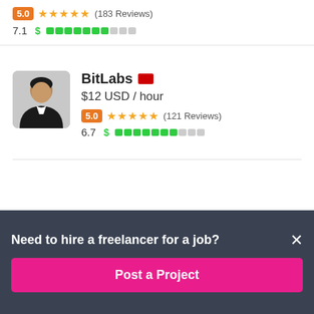5.0 ★★★★★ (183 Reviews)
7.1 $ ████████░░░
[Figure (photo): Profile photo of a person in a black jacket with white shirt, circular/rounded square avatar]
BitLabs 🇨🇳
$12 USD / hour
5.0 ★★★★★ (121 Reviews)
6.7 $ ████████░░░
Need to hire a freelancer for a job?
Post a Project